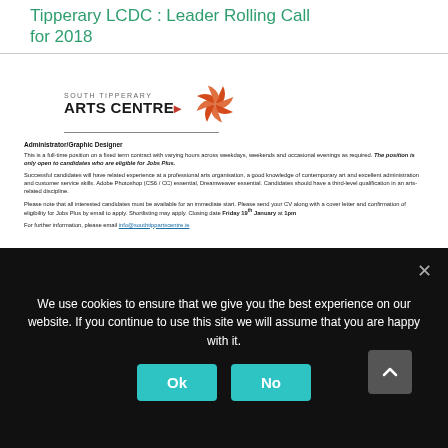Tipperary LCDC : Leader Rolling Call for 2018
[Figure (logo): South Tipperary Arts Centre logo with orange pinwheel graphic and text 'SOUTH TIPPERARY ARTS CENTRE' with underline]
Administrator/Graphic Designer
This is a full-time position on a fixed term contract with varying hours across weekdays, weekends and occasional evenings as required. The position is only open to candidates who are eligible for Jobs Plus.
Successful candidates will have related experience at a professional arts organisation, a good knowledge of contemporary art and excellent administration and customer service skills. Adobe Photoshop (CS6 / CC) essential, Dreamweaver essential. Candidates should have a third-level qualification in an arts-related discipline.
Please note that all interested candidates must be available for an immediate start. Please send your CV along with a cover letter and confirmation of eligibility for Jobs Plus by email to apply. Shortlisting may apply. Closing date Friday 19th January at 1pm
For further information, please email info@southtippartscentre.ie
We use cookies to ensure that we give you the best experience on our website. If you continue to use this site we will assume that you are happy with it.